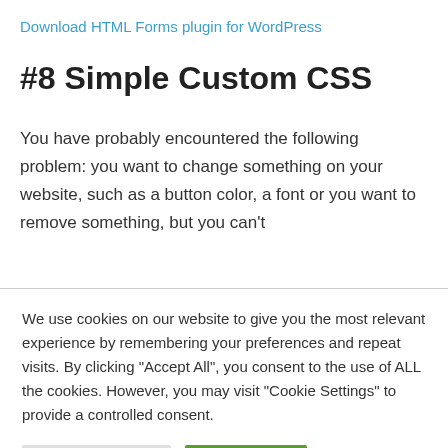Download HTML Forms plugin for WordPress
#8 Simple Custom CSS
You have probably encountered the following problem: you want to change something on your website, such as a button color, a font or you want to remove something, but you can't
We use cookies on our website to give you the most relevant experience by remembering your preferences and repeat visits. By clicking "Accept All", you consent to the use of ALL the cookies. However, you may visit "Cookie Settings" to provide a controlled consent.
Cookie Settings | Accept All